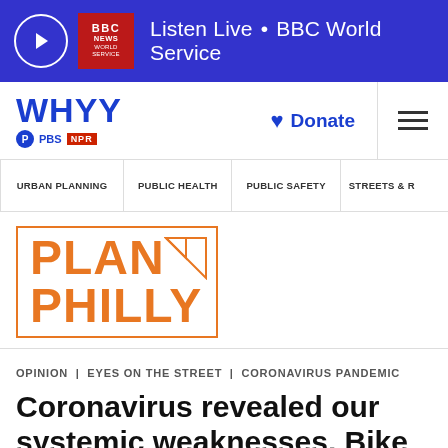Listen Live · BBC World Service
[Figure (logo): WHYY PBS NPR logo with Donate button and hamburger menu]
URBAN PLANNING | PUBLIC HEALTH | PUBLIC SAFETY | STREETS &
[Figure (logo): Plan Philly logo in orange with border]
OPINION | EYES ON THE STREET | CORONAVIRUS PANDEMIC
Coronavirus revealed our systemic weaknesses. Bike infrastructure is one.